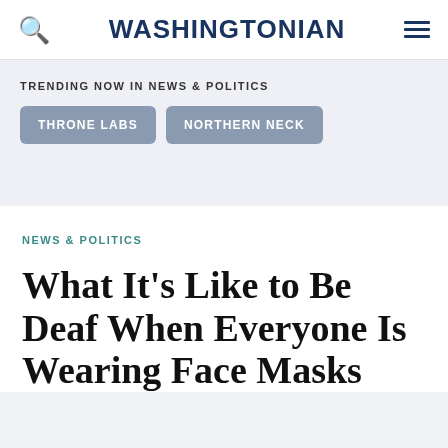WASHINGTONIAN
TRENDING NOW IN NEWS & POLITICS
THRONE LABS
NORTHERN NECK
NEWS & POLITICS
What It's Like to Be Deaf When Everyone Is Wearing Face Masks